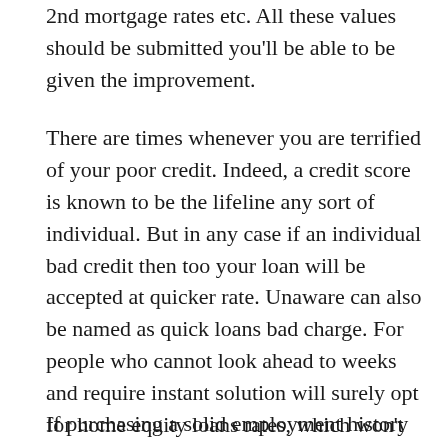2nd mortgage rates etc. All these values should be submitted you'll be able to be given the improvement.
There are times whenever you are terrified of your poor credit. Indeed, a credit score is known to be the lifeline any sort of individual. But in any case if an individual bad credit then too your loan will be accepted at quicker rate. Unaware can also be named as quick loans bad charge. For people who cannot look ahead to weeks and require instant solution will surely opt for home equity loans rates, which won't increase the united states burden any kind of way. This loan exceedingly helpful in consolidating several debts of individual. It can actually certainly transform various debts into at least one one which is one in the most exceptional things about these school payday loans no credit check slick cash loan.
If purchasing a solid employment history then you will